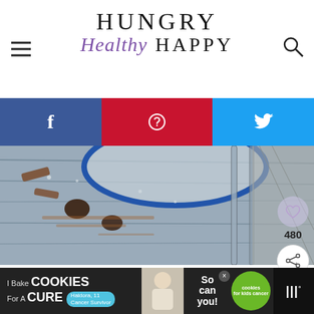[Figure (logo): Hungry Healthy Happy website logo with hamburger menu icon and search icon]
[Figure (infographic): Social share bar with Facebook (blue), Pinterest (red), and Twitter (cyan) buttons]
[Figure (photo): Food photography showing a rustic scene with cinnamon sticks, chocolate pieces, spices on a weathered wooden surface with a blue-rimmed bowl]
[Figure (infographic): Right sidebar with heart/like button showing 480 count and share button]
ADVERTISEMENT
[Figure (infographic): What's Next panel showing Honey Grilled Pineapple with circular food thumbnail]
[Figure (infographic): Bottom advertisement banner: I Bake COOKIES For A CURE - So can you! Haldora, 11 Cancer Survivor - cookies for kids cancer]
[Figure (logo): Mediavine logo (three bars with degree symbol) on black background]